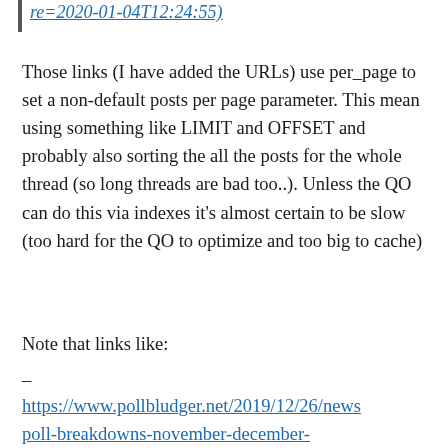re=2020-01-04T12:24:55)
Those links (I have added the URLs) use per_page to set a non-default posts per page parameter. This mean using something like LIMIT and OFFSET and probably also sorting the all the posts for the whole thread (so long threads are bad too..). Unless the QO can do this via indexes it's almost certain to be slow (too hard for the QO to optimize and too big to cache)
Note that links like:
–
https://www.pollbludger.net/2019/12/26/newspoll-breakdowns-november-december-2019/comment-page-449/#comment-3015368